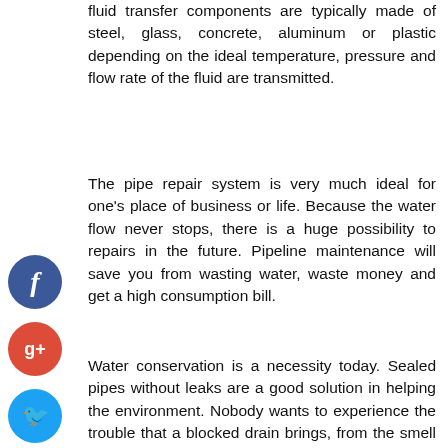fluid transfer components are typically made of steel, glass, concrete, aluminum or plastic depending on the ideal temperature, pressure and flow rate of the fluid are transmitted.
The pipe repair system is very much ideal for one's place of business or life. Because the water flow never stops, there is a huge possibility to repairs in the future. Pipeline maintenance will save you from wasting water, waste money and get a high consumption bill.
Water conservation is a necessity today. Sealed pipes without leaks are a good solution in helping the environment. Nobody wants to experience the trouble that a blocked drain brings, from the smell that irritates the water does not drain quickly. If you have any of these symptoms your drainage system has serious problems. You can check out various online resources if you want to know more about it.